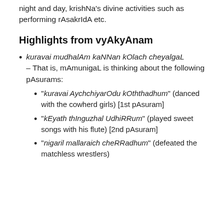night and day, krishNa's divine activities such as performing rAsakrIdA etc.
Highlights from vyAkyAnam
kuravai mudhalAm kaNNan kOlach cheyalgaL – That is, mAmunigaL is thinking about the following pAsurams:
“kuravai AychchiyarOdu kOththadhum” (danced with the cowherd girls) [1st pAsuram]
“kEyath thInguzhal UdhiRRum” (played sweet songs with his flute) [2nd pAsuram]
“nigaril mallaraich cheRRadhum” (defeated the matchless wrestlers)